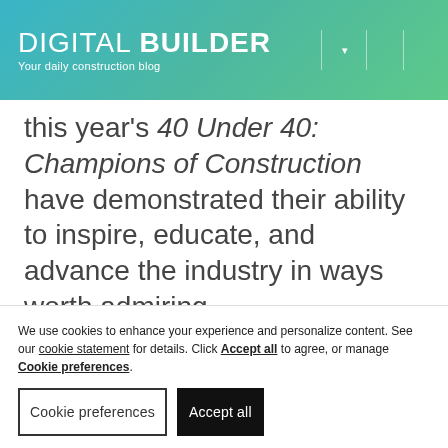DIGITAL BUILDER — Your daily construction blog
this year's 40 Under 40: Champions of Construction have demonstrated their ability to inspire, educate, and advance the industry in ways worth admiring.

Every year, Autodesk receives hundreds of nominations for this
We use cookies to enhance your experience and personalize content. See our cookie statement for details. Click Accept all to agree, or manage Cookie preferences.
Cookie preferences | Accept all